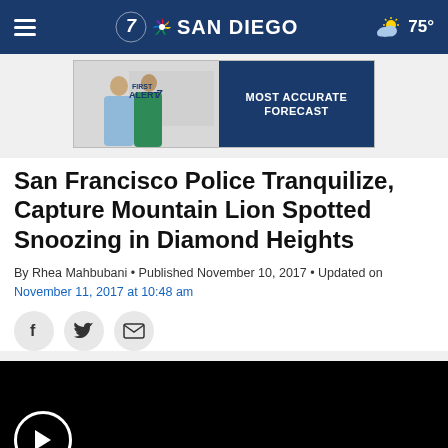7 SAN DIEGO  75°
[Figure (photo): NBC 7 San Diego First Alert Weather advertisement banner with two female news anchors on the left side and 'MOST ACCURATE FORECAST' text on blue background on the right side]
San Francisco Police Tranquilize, Capture Mountain Lion Spotted Snoozing in Diamond Heights
By Rhea Mahbubani • Published November 10, 2017 • Updated on November 11, 2017 at 10:48 am
[Figure (screenshot): Social sharing icons: Facebook, Twitter, and Email buttons]
[Figure (photo): Video player with black background and white play button circle at bottom left]